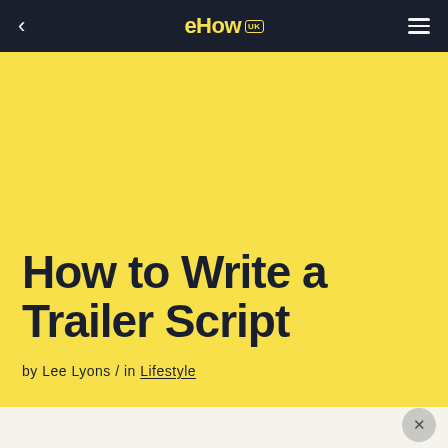eHow UK
How to Write a Trailer Script
by Lee Lyons / in Lifestyle